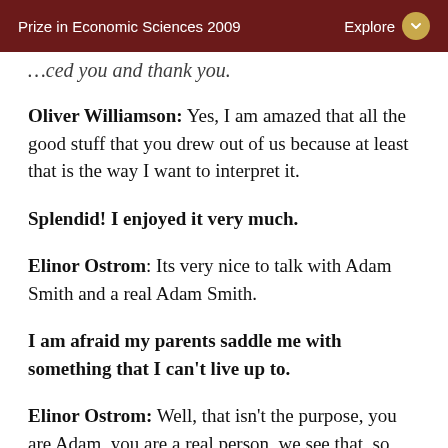Prize in Economic Sciences 2009 | Explore
…ced you and thank you.
Oliver Williamson: Yes, I am amazed that all the good stuff that you drew out of us because at least that is the way I want to interpret it.
Splendid! I enjoyed it very much.
Elinor Ostrom: Its very nice to talk with Adam Smith and a real Adam Smith.
I am afraid my parents saddle me with something that I can't live up to.
Elinor Ostrom: Well, that isn't the purpose, you are Adam, you are a real person, we see that, so